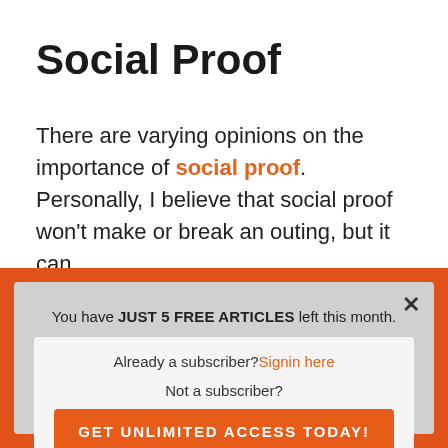Social Proof
There are varying opinions on the importance of social proof. Personally, I believe that social proof won't make or break an outing, but it can
[Figure (screenshot): A modal dialog overlay with orange border. Header text: 'You have JUST 5 FREE ARTICLES left this month.' Inside a light gray box: 'Already a subscriber? Signin here' and 'Not a subscriber?' followed by an orange button 'GET UNLIMITED ACCESS TODAY!']